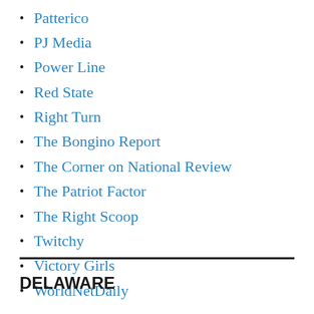Patterico
PJ Media
Power Line
Red State
Right Turn
The Bongino Report
The Corner on National Review
The Patriot Factor
The Right Scoop
Twitchy
Victory Girls
WorldNetDaily
DELAWARE